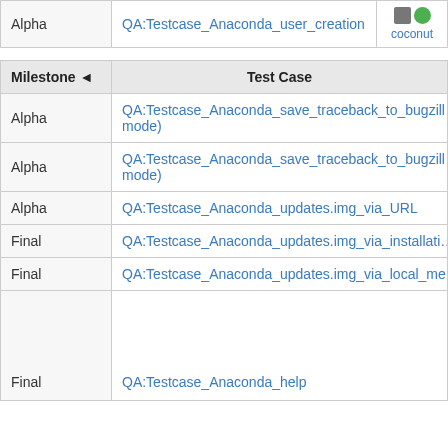| Milestone | Test Case |
| --- | --- |
| Alpha | QA:Testcase_Anaconda_user_creation | coconut |
| Alpha | QA:Testcase_Anaconda_save_traceback_to_bugzill... mode) |
| Alpha | QA:Testcase_Anaconda_save_traceback_to_bugzill... mode) |
| Alpha | QA:Testcase_Anaconda_updates.img_via_URL |
| Final | QA:Testcase_Anaconda_updates.img_via_installati... |
| Final | QA:Testcase_Anaconda_updates.img_via_local_me... |
| Final | QA:Testcase_Anaconda_help |